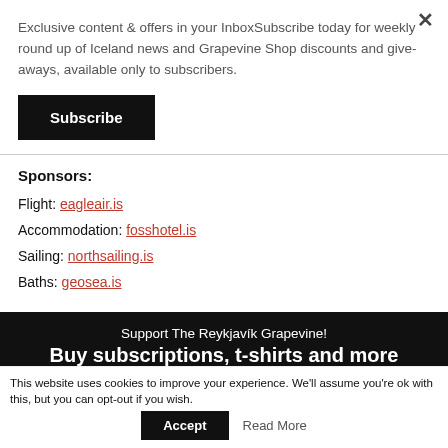Exclusive content & offers in your InboxSubscribe today for weekly round up of Iceland news and Grapevine Shop discounts and give-aways, available only to subscribers.
Subscribe
Sponsors:
Flight: eagleair.is
Accommodation: fosshotel.is
Sailing: northsailing.is
Baths: geosea.is
Support The Reykjavík Grapevine! Buy subscriptions, t-shirts and more
This website uses cookies to improve your experience. We'll assume you're ok with this, but you can opt-out if you wish.
Accept
Read More